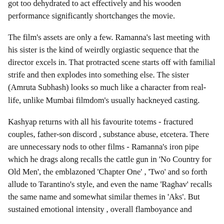got too dehydrated to act effectively and his wooden performance significantly shortchanges the movie.
The film's assets are only a few. Ramanna's last meeting with his sister is the kind of weirdly orgiastic sequence that the director excels in. That protracted scene starts off with familial strife and then explodes into something else. The sister (Amruta Subhash) looks so much like a character from real-life, unlike Mumbai filmdom's usually hackneyed casting.
Kashyap returns with all his favourite totems - fractured couples, father-son discord , substance abuse, etcetera. There are unnecessary nods to other films - Ramanna's iron pipe which he drags along recalls the cattle gun in 'No Country for Old Men', the emblazoned 'Chapter One' , 'Two' and so forth allude to Tarantino's style, and even the name 'Raghav' recalls the same name and somewhat similar themes in 'Aks'. But sustained emotional intensity , overall flamboyance and